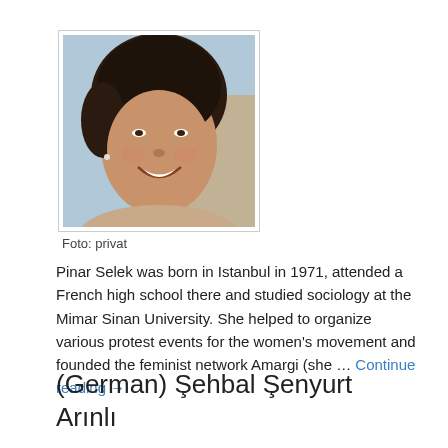[Figure (photo): Portrait photo of a smiling woman with dark curly hair and a pearl necklace, outdoors.]
Foto: privat
Pinar Selek was born in Istanbul in 1971, attended a French high school there and studied sociology at the Mimar Sinan University. She helped to organize various protest events for the women's movement and founded the feminist network Amargi (she … Continue reading →
(German) Şehbal Şenyurt Arınlı